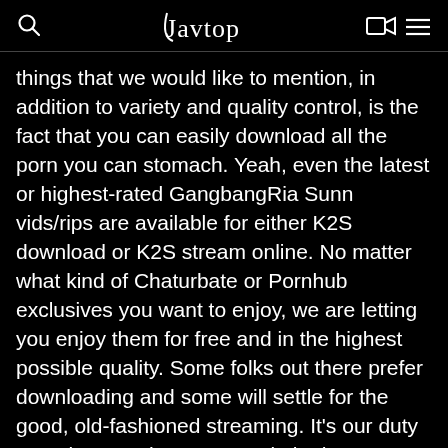javtop
things that we would like to mention, in addition to variety and quality control, is the fact that you can easily download all the porn you can stomach. Yeah, even the latest or highest-rated GangbangRia Sunn vids/rips are available for either K2S download or K2S stream online. No matter what kind of Chaturbate or Pornhub exclusives you want to enjoy, we are letting you enjoy them for free and in the highest possible quality. Some folks out there prefer downloading and some will settle for the good, old-fashioned streaming. It’s our duty to make sure that you can do both. Happy viewing!
© 2021 javtop.asia. All Rights Reserved. This site does not store any files on its server. DMCA Protected